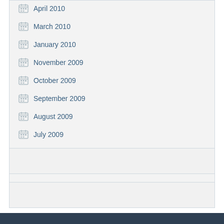April 2010
March 2010
January 2010
November 2009
October 2009
September 2009
August 2009
July 2009